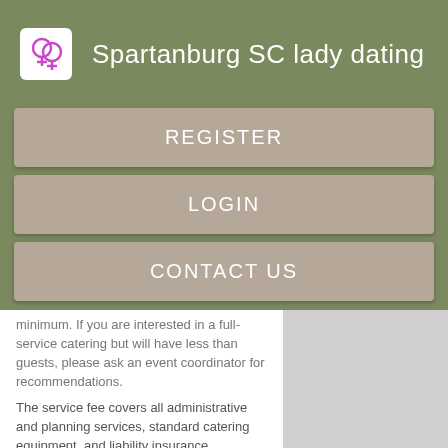Spartanburg SC lady dating
REGISTER
LOGIN
CONTACT US
minimum. If you are interested in a full-service catering but will have less than guests, please ask an event coordinator for recommendations.
The service fee covers all administrative and planning services, standard catering equipment, and liability insurance